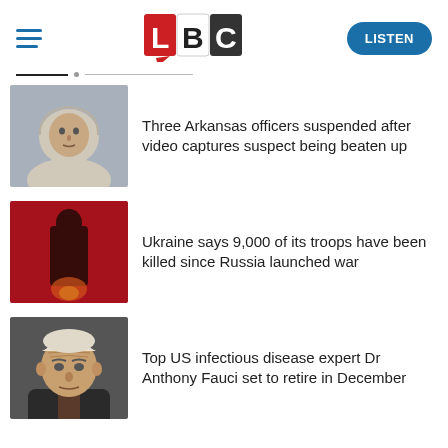LBC | LISTEN
[Figure (photo): Thumbnail photo of a man in a hoodie (Arkansas suspect)]
Three Arkansas officers suspended after video captures suspect being beaten up
[Figure (photo): Thumbnail of a red-toned image with a silhouette (Ukraine war imagery)]
Ukraine says 9,000 of its troops have been killed since Russia launched war
[Figure (photo): Thumbnail photo of Dr Anthony Fauci]
Top US infectious disease expert Dr Anthony Fauci set to retire in December